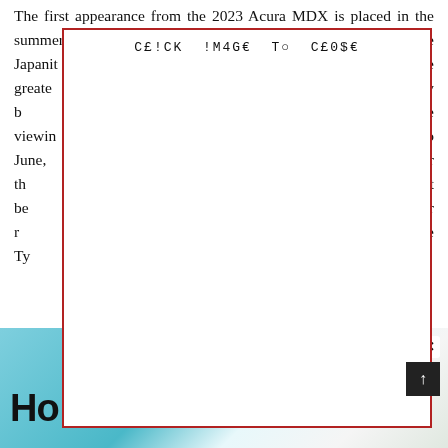The first appearance from the 2023 Acura MDX is placed in the summertime of 2022. Our company is very confident that the Japanese... it Auto Show. ...nt the greate... it will likely b... ortune viewin... an to June, ...n right after th... $60,000 just be... ms for your re... With all the Ty... about $65,00...
[Figure (other): Modal overlay with red border displaying 'CLICK IMAGE TO CLOSE' in monospace font, covering most of the article text below it. White background inside.]
[Figure (photo): Bottom banner area showing a partial teal/cyan colored image on the left and a lighter area on the right, with bold 'Ho' text visible and navigation icons in top right corner.]